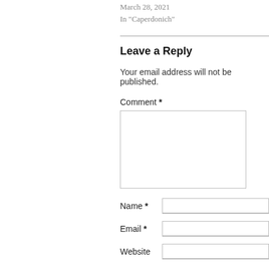March 28, 2021
In "Caperdonich"
Leave a Reply
Your email address will not be published.
Comment *
Name *
Email *
Website
Post Comment